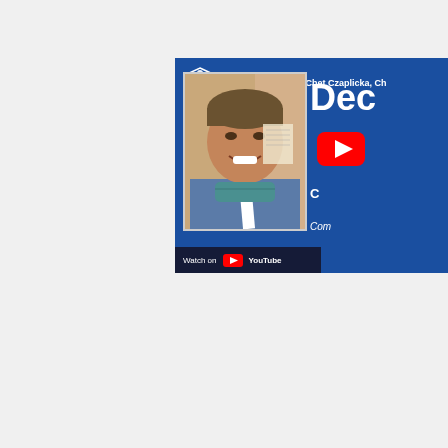[Figure (screenshot): YouTube video thumbnail for episode #56: Interview with Chet Czaplicka (partially visible). Shows a man in blue scrubs with a teal face mask pulled down, smiling at the camera in a medical setting. The right side shows partial text 'Dec' in large white letters, a YouTube play button icon, partial text 'C' and 'Com' in white, on a blue background. Bottom left has 'Watch on YouTube' bar. Top left has a shield logo with 'WDM' and partial title text '#56: Interview with Chet Czaplicka, Ch...'.]